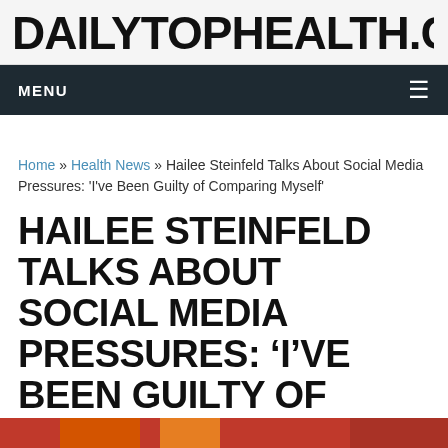DAILYTOPHEALTH.COM
MENU
Home » Health News » Hailee Steinfeld Talks About Social Media Pressures: 'I've Been Guilty of Comparing Myself'
HAILEE STEINFELD TALKS ABOUT SOCIAL MEDIA PRESSURES: 'I'VE BEEN GUILTY OF COMPARING MYSELF'
07/19/2018  |  Health News
[Figure (photo): Partial image strip at bottom of page, orange-red colored photo]